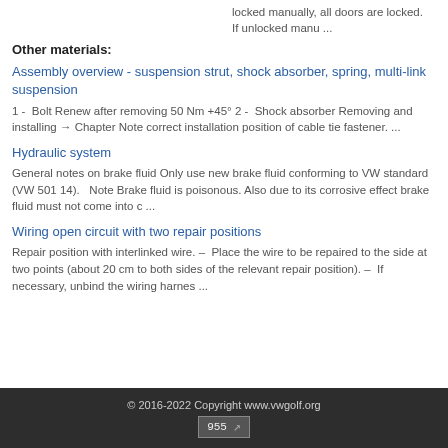locked manually, all doors are locked. If unlocked manu ...
Other materials:
Assembly overview - suspension strut, shock absorber, spring, multi-link suspension
1 -  Bolt Renew after removing 50 Nm +45° 2 -  Shock absorber Removing and installing → Chapter Note correct installation position of cable tie fastener. ...
Hydraulic system
General notes on brake fluid Only use new brake fluid conforming to VW standard (VW 501 14).   Note Brake fluid is poisonous. Also due to its corrosive effect brake fluid must not come into c ...
Wiring open circuit with two repair positions
Repair position with interlinked wire. –  Place the wire to be repaired to the side at two points (about 20 cm to both sides of the relevant repair position). –  If necessary, unbind the wiring harnes ...
© 2016-2022 Copyright www.vwgolf.org  955